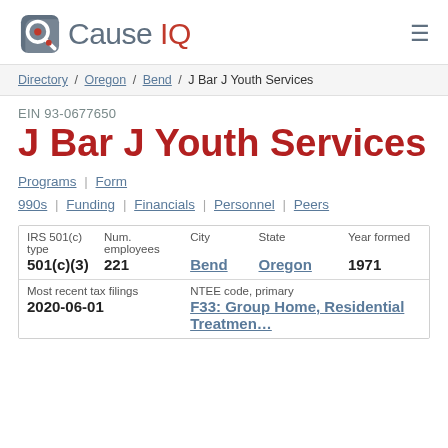[Figure (logo): Cause IQ logo with stylized icon and text]
Directory / Oregon / Bend / J Bar J Youth Services
EIN 93-0677650
J Bar J Youth Services
Programs | Form 990s | Funding | Financials | Personnel | Peers
| IRS 501(c) type | Num. employees | City | State | Year formed |
| --- | --- | --- | --- | --- |
| 501(c)(3) | 221 | Bend | Oregon | 1971 |
| Most recent tax filings |  | NTEE code, primary |  |  |
| 2020-06-01 |  | F33: Group Home, Residential Treatmen... |  |  |